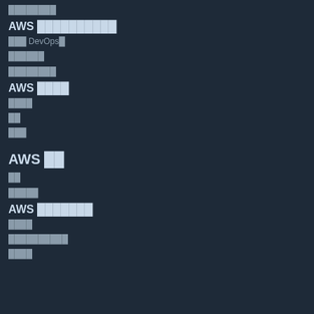████████
AWS ██████████
███ DevOps█
██████
████████
AWS ████
████
██
███
AWS ██
██
█████
AWS ███████
████
██████████
████